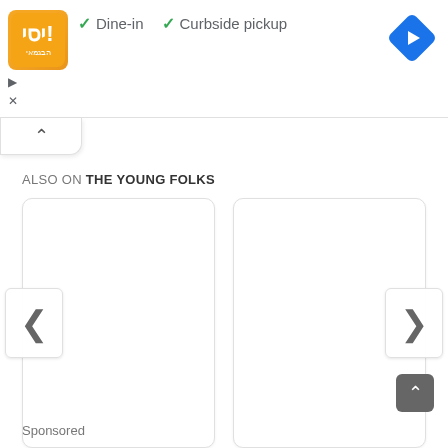[Figure (screenshot): Ad banner with restaurant logo, dine-in and curbside pickup options, and a Google Maps navigation diamond icon. Below a collapse chevron tab. Section header reading ALSO ON THE YOUNG FOLKS with two empty card placeholders and prev/next navigation arrows. A scroll-to-top button and Sponsored label at the bottom.]
✓ Dine-in  ✓ Curbside pickup
ALSO ON THE YOUNG FOLKS
Sponsored